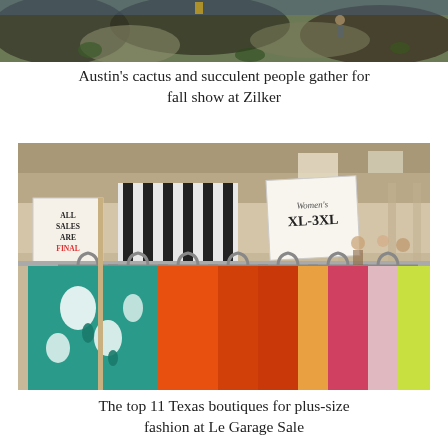[Figure (photo): Partial top view of people gathering outdoors among rocks and cactus plants at Zilker, Austin]
Austin's cactus and succulent people gather for fall show at Zilker
[Figure (photo): Indoor clothing sale at Le Garage Sale showing clothing racks with colorful garments including teal and orange tops on gray hangers, signs reading 'ALL SALES ARE FINAL' and 'Women's XL-3XL']
The top 11 Texas boutiques for plus-size fashion at Le Garage Sale